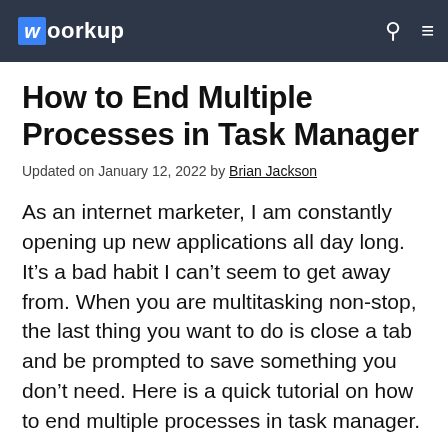woorkup
How to End Multiple Processes in Task Manager
Updated on January 12, 2022 by Brian Jackson
As an internet marketer, I am constantly opening up new applications all day long. It’s a bad habit I can’t seem to get away from. When you are multitasking non-stop, the last thing you want to do is close a tab and be prompted to save something you don’t need. Here is a quick tutorial on how to end multiple processes in task manager.